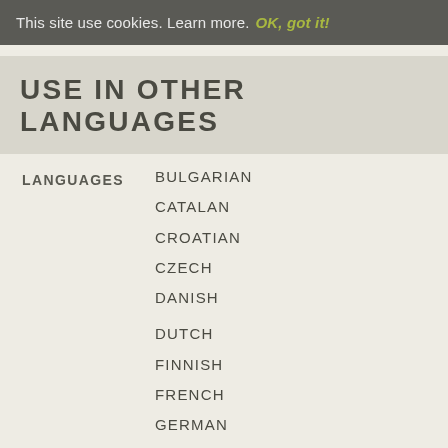This site use cookies. Learn more. OK, got it!
USE IN OTHER LANGUAGES
LANGUAGES
BULGARIAN
CATALAN
CROATIAN
CZECH
DANISH
DUTCH
FINNISH
FRENCH
GERMAN
GREEK
GREENLANDIC
HUNGARIAN - MAGYAR
ICELANDIC